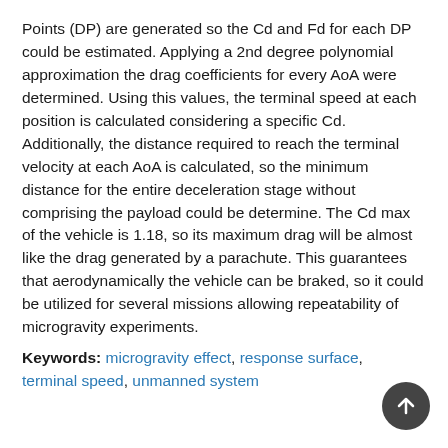Points (DP) are generated so the Cd and Fd for each DP could be estimated. Applying a 2nd degree polynomial approximation the drag coefficients for every AoA were determined. Using this values, the terminal speed at each position is calculated considering a specific Cd. Additionally, the distance required to reach the terminal velocity at each AoA is calculated, so the minimum distance for the entire deceleration stage without comprising the payload could be determine. The Cd max of the vehicle is 1.18, so its maximum drag will be almost like the drag generated by a parachute. This guarantees that aerodynamically the vehicle can be braked, so it could be utilized for several missions allowing repeatability of microgravity experiments.
Keywords: microgravity effect, response surface, terminal speed, unmanned system